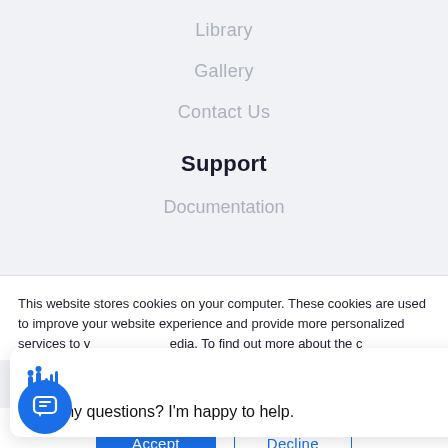Library
Gallery
Contact Us
Support
Documentation
This website stores cookies on your computer. These cookies are used to improve your website experience and provide more personalized services to you, on this website and through other media. To find out more about the cookies we use, see our Privacy Policy. We won't track your information when you visit our site. But in order to comply with your preferences, we'll have to use just one tiny cookie so that you're not asked to make this choice again.
Got any questions? I'm happy to help.
Accept
Decline